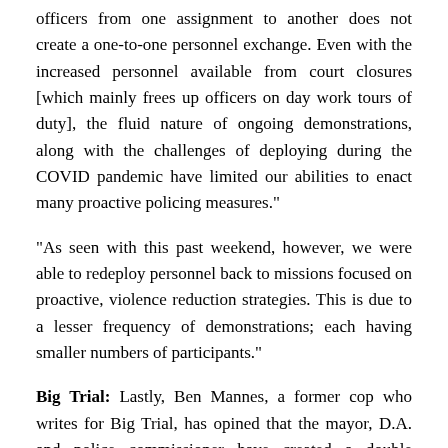officers from one assignment to another does not create a one-to-one personnel exchange. Even with the increased personnel available from court closures [which mainly frees up officers on day work tours of duty], the fluid nature of ongoing demonstrations, along with the challenges of deploying during the COVID pandemic have limited our abilities to enact many proactive policing measures."
"As seen with this past weekend, however, we were able to redeploy personnel back to missions focused on proactive, violence reduction strategies. This is due to a lesser frequency of demonstrations; each having smaller numbers of participants."
Big Trial: Lastly, Ben Mannes, a former cop who writes for Big Trial, has opined that the mayor, D.A. and police commissioner have created a double standard in law enforcement, where protesters and others who break the law get a pass, while cops face transfers and/or termination for enforcing the law during protests or for using force to arrest